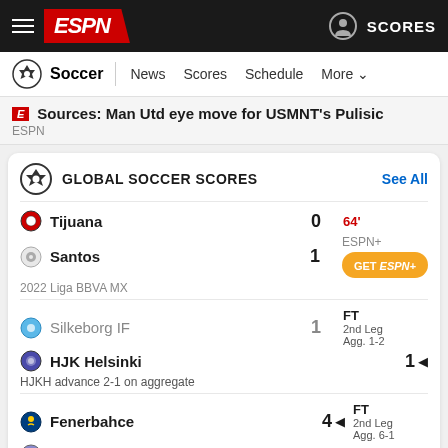ESPN - Soccer | News | Scores | Schedule | More
Sources: Man Utd eye move for USMNT's Pulisic
ESPN
GLOBAL SOCCER SCORES
| Team | Score | Status |
| --- | --- | --- |
| Tijuana | 0 | 64' ESPN+ |
| Santos | 1 | GET ESPN+ |
| 2022 Liga BBVA MX |  |  |
| Silkeborg IF | 1 | FT 2nd Leg Agg. 1-2 |
| HJK Helsinki | 1 | FT 2nd Leg Agg. 1-2 |
| HJKH advance 2-1 on aggregate |  |  |
| Fenerbahce | 4 | FT 2nd Leg Agg. 6-1 |
| Vienna | 1 | FT 2nd Leg Agg. 6-1 |